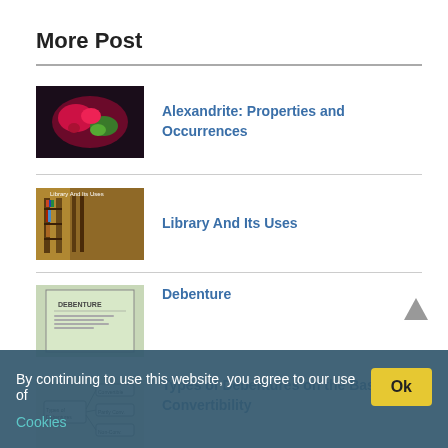More Post
[Figure (photo): Alexandrite gemstone thumbnail image showing red and green colors]
Alexandrite: Properties and Occurrences
[Figure (photo): Library interior with bookshelves thumbnail]
Library And Its Uses
[Figure (photo): Debenture document thumbnail]
Debenture
[Figure (illustration): Types of Debentures diagram/flowchart thumbnail]
Types of Debentures on the Basis of Convertibility
By continuing to use this website, you agree to our use of Cookies